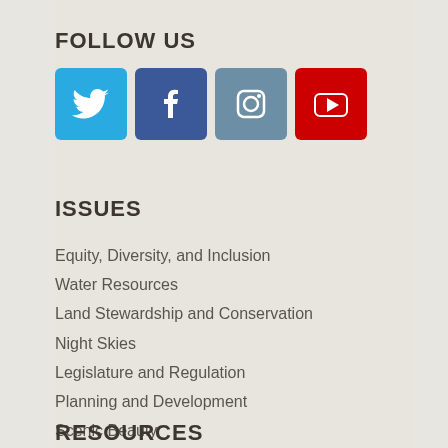FOLLOW US
[Figure (infographic): Four social media icons: Twitter (blue bird), Facebook (blue f), Instagram (camera), YouTube (red play button)]
ISSUES
Equity, Diversity, and Inclusion
Water Resources
Land Stewardship and Conservation
Night Skies
Legislature and Regulation
Planning and Development
Scenic Beauty
RESOURCES